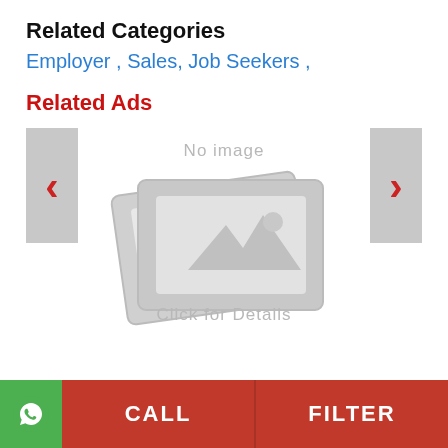Related Categories
Employer , Sales, Job Seekers ,
Related Ads
[Figure (screenshot): No image placeholder with 'Click for Details' text and navigation arrows on left and right]
CALL   FILTER